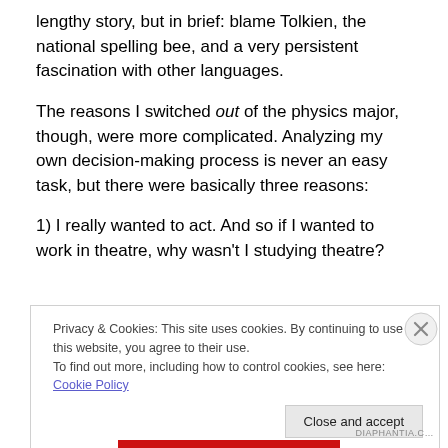lengthy story, but in brief: blame Tolkien, the national spelling bee, and a very persistent fascination with other languages.
The reasons I switched out of the physics major, though, were more complicated. Analyzing my own decision-making process is never an easy task, but there were basically three reasons:
1) I really wanted to act. And so if I wanted to work in theatre, why wasn't I studying theatre?
Privacy & Cookies: This site uses cookies. By continuing to use this website, you agree to their use.
To find out more, including how to control cookies, see here: Cookie Policy
Close and accept